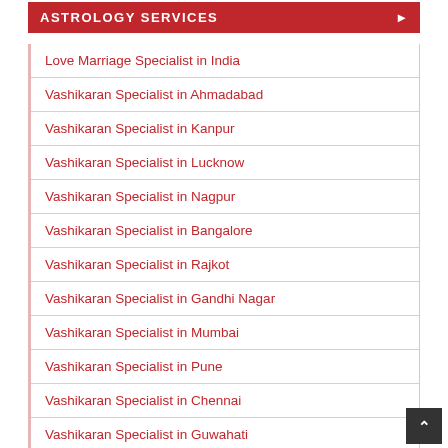ASTROLOGY SERVICES
Love Marriage Specialist in India
Vashikaran Specialist in Ahmadabad
Vashikaran Specialist in Kanpur
Vashikaran Specialist in Lucknow
Vashikaran Specialist in Nagpur
Vashikaran Specialist in Bangalore
Vashikaran Specialist in Rajkot
Vashikaran Specialist in Gandhi Nagar
Vashikaran Specialist in Mumbai
Vashikaran Specialist in Pune
Vashikaran Specialist in Chennai
Vashikaran Specialist in Guwahati
Vashikaran Specialist in Indore